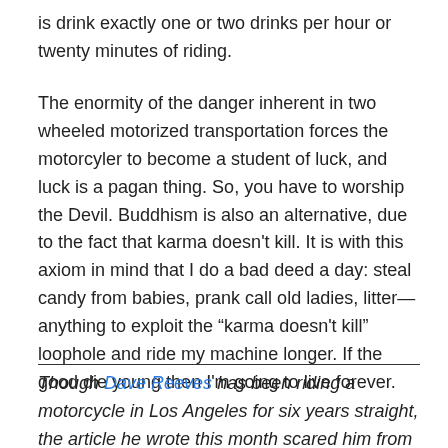is drink exactly one or two drinks per hour or twenty minutes of riding.
The enormity of the danger inherent in two wheeled motorized transportation forces the motorcyler to become a student of luck, and luck is a pagan thing. So, you have to worship the Devil. Buddhism is also an alternative, due to the fact that karma doesn't kill. It is with this axiom in mind that I do a bad deed a day: steal candy from babies, prank call old ladies, litter—anything to exploit the “karma doesn't kill” loophole and ride my machine longer. If the good die young then I'm going to live forever.
Though Dave Reeves has been riding a motorcycle in Los Angeles for six years straight, the article he wrote this month scared him from riding anymore. Dave Reeves